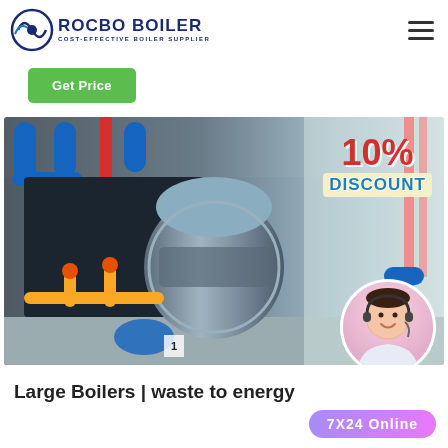[Figure (logo): Rocbo Boiler logo with circular arc icon and text 'ROCBO BOILER / COST-EFFECTIVE BOILER SUPPLIER']
Get Price
[Figure (photo): Industrial boiler room with large cylindrical gas boiler, blue pipes, red vertical pipe, yellow gas pipes, and a '10% DISCOUNT' promotional overlay with a customer service agent in the bottom right]
Large Boilers | waste to energy
7X24 Online